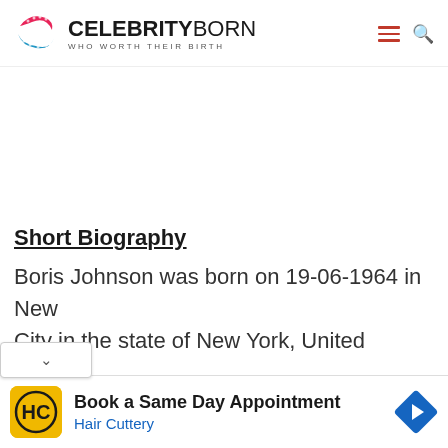CELEBRITY BORN — WHO WORTH THEIR BIRTH
Short Biography
Boris Johnson was born on 19-06-1964 in New City in the state of New York, United
[Figure (infographic): Hair Cuttery advertisement: Book a Same Day Appointment — Hair Cuttery logo and navigation arrow icon]